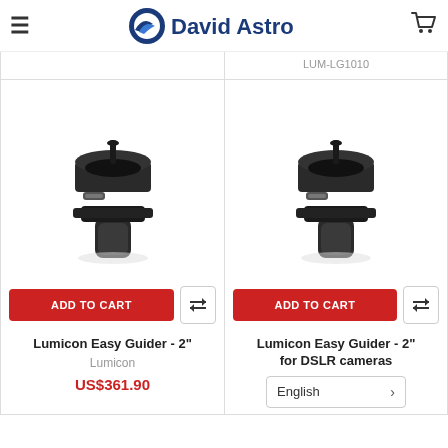David Astro
LUM-LG1010
[Figure (photo): Lumicon Easy Guider 2-inch telescope accessory, black metal ring and adapter mount]
ADD TO CART
Lumicon Easy Guider - 2"
Lumicon
US$361.90
[Figure (photo): Lumicon Easy Guider 2-inch for DSLR cameras, black metal ring and adapter mount]
ADD TO CART
Lumicon Easy Guider - 2" for DSLR cameras
English